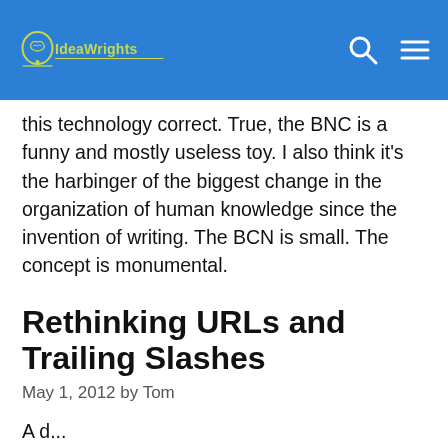IdeaWrights
this technology correct. True, the BNC is a funny and mostly useless toy. I also think it’s the harbinger of the biggest change in the organization of human knowledge since the invention of writing. The BCN is small. The concept is monumental.
Rethinking URLs and Trailing Slashes
May 1, 2012 by Tom
A d...